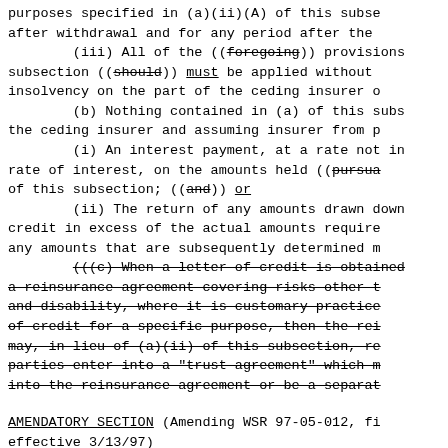purposes specified in (a)(ii)(A) of this subsection after withdrawal and for any period after the
    (iii) All of the ((foregoing)) provisions subsection ((should)) must be applied without insolvency on the part of the ceding insurer o
    (b) Nothing contained in (a) of this subs the ceding insurer and assuming insurer from p
    (i) An interest payment, at a rate not in rate of interest, on the amounts held ((pursua of this subsection; ((and)) or
    (ii) The return of any amounts drawn down credit in excess of the actual amounts require any amounts that are subsequently determined m
    (((c) When a letter of credit is obtained a reinsurance agreement covering risks other t and disability, where it is customary practice of credit for a specific purpose, then the rei may, in lieu of (a)(ii) of this subsection, re parties enter into a "trust agreement" which m into the reinsurance agreement or be a separat
AMENDATORY SECTION (Amending WSR 97-05-012, fi effective 3/13/97)